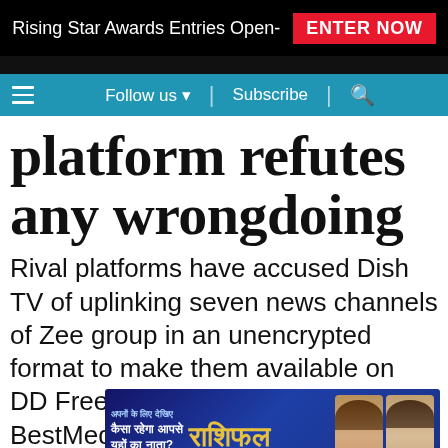Rising Star Awards Entries Open- ENTER NOW
Follow us ▼  |  Subscribe  |  🔍
platform refutes any wrongdoing
Rival platforms have accused Dish TV of uplinking seven news channels of Zee group in an unencrypted format to make them available on DD Freedish. In a statement to BestMediaInfo.com, Dish TV has refuted any wrongdoing
[Figure (screenshot): Promotional advertisement overlay in Hindi for an astrology/horoscope segment featuring two persons and decorative text]